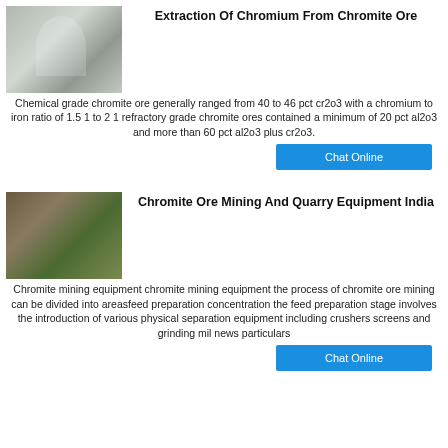[Figure (photo): Industrial milling/grinding equipment with large cylindrical tanks and pipes]
Extraction Of Chromium From Chromite Ore
Chemical grade chromite ore generally ranged from 40 to 46 pct cr2o3 with a chromium to iron ratio of 1.5 1 to 2 1 refractory grade chromite ores contained a minimum of 20 pct al2o3 and more than 60 pct al2o3 plus cr2o3.
Chat Online
[Figure (photo): Mining crusher and quarry equipment in an outdoor setting]
Chromite Ore Mining And Quarry Equipment India
Chromite mining equipment chromite mining equipment the process of chromite ore mining can be divided into areasfeed preparation concentration the feed preparation stage involves the introduction of various physical separation equipment including crushers screens and grinding mil news particulars
Chat Online